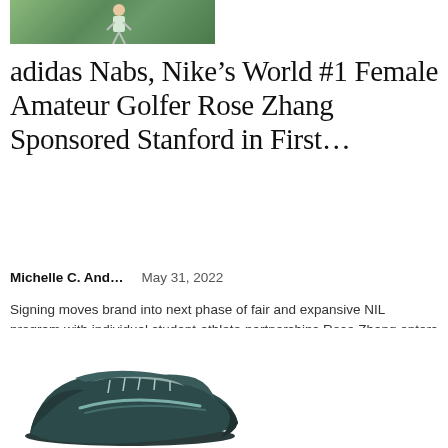[Figure (photo): Partial photo of a female golfer on a green/park background, cropped at top]
adidas Nabs, Nike’s World #1 Female Amateur Golfer Rose Zhang Sponsored Stanford in First…
Michelle C. And…   May 31, 2022
Signing moves brand into next phase of fair and expansive NIL program with individual student-athlete partnerships Rose Zhang enters US Women’s Open this week as top female amateur Source: World No. 1 female amateur golfer Rose Zhang…
[Figure (photo): Photo of a dark teal/blue athletic shoe (sneaker) from the side, partially cropped at bottom]